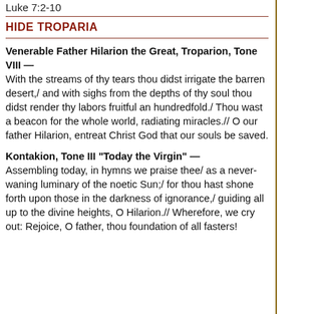Luke 7:2-10
HIDE TROPARIA
Venerable Father Hilarion the Great, Troparion, Tone VIII — With the streams of thy tears thou didst irrigate the barren desert,/ and with sighs from the depths of thy soul thou didst render thy labors fruitful an hundredfold./ Thou wast a beacon for the whole world, radiating miracles.// O our father Hilarion, entreat Christ God that our souls be saved.
Kontakion, Tone III "Today the Virgin" — Assembling today, in hymns we praise thee/ as a never-waning luminary of the noetic Sun;/ for thou hast shone forth upon those in the darkness of ignorance,/ guiding all up to the divine heights, O Hilarion.// Wherefore, we cry out: Rejoice, O father, thou foundation of all fasters!